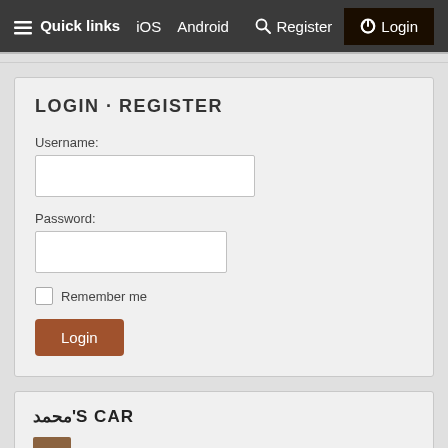☰ Quick links  iOS  Android  🔍 Register  ⏻ Login
LOGIN · REGISTER
Username:
Password:
Remember me
Login
محمد'S CAR